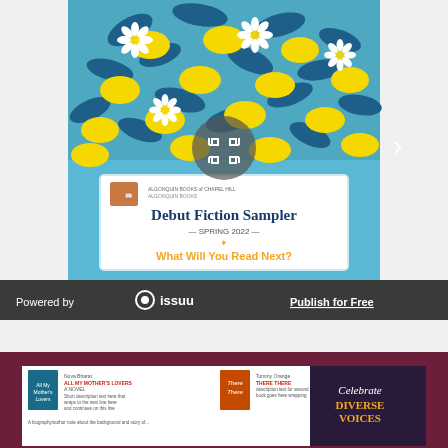[Figure (screenshot): Issuu viewer showing 'Debut Fiction Sampler – Spring 2022 – What Will You Read Next?' with lemon and flower illustration cover, with a right arrow navigation button and expand icon overlay]
Powered by issuu    Publish for Free
[Figure (screenshot): Issuu viewer showing a page with book descriptions and 'Celebrate Diverse Voices' text on a dark maroon background]